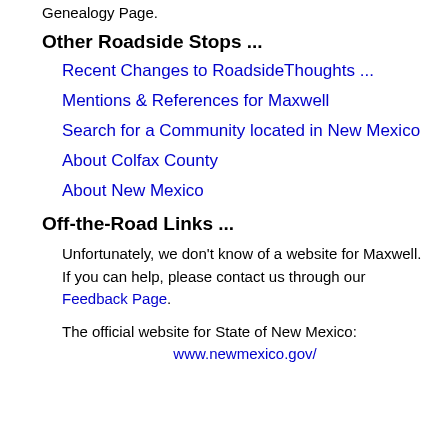Genealogy Page.
Other Roadside Stops ...
Recent Changes to RoadsideThoughts ...
Mentions & References for Maxwell
Search for a Community located in New Mexico
About Colfax County
About New Mexico
Off-the-Road Links ...
Unfortunately, we don't know of a website for Maxwell. If you can help, please contact us through our Feedback Page.
The official website for State of New Mexico: www.newmexico.gov/